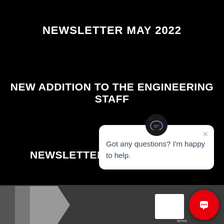NEWSLETTER MAY 2022
NEW ADDITION TO THE ENGINEERING STAFF
NEWSLETTER FEBRUARY 20[22]
[Figure (screenshot): Chat widget overlay showing a chatbot icon, close button (×), and message 'Got any questions? I'm happy to help.']
[Figure (screenshot): Website footer area with dark gray background, logo bottom left, red circular chat button bottom right, and small white box]